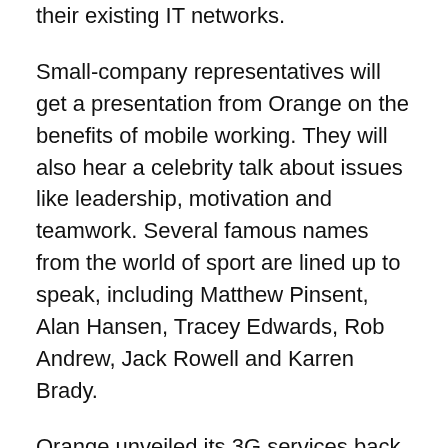their existing IT networks.
Small-company representatives will get a presentation from Orange on the benefits of mobile working. They will also hear a celebrity talk about issues like leadership, motivation and teamwork. Several famous names from the world of sport are lined up to speak, including Matthew Pinsent, Alan Hansen, Tracey Edwards, Rob Andrew, Jack Rowell and Karren Brady.
Orange unveiled its 3G services back in July, but the roadshows will mark the official nationwide launch.
Orange's 3G Mobile Office card, which was reviewed by ZDNet UK last month, costs up to £75